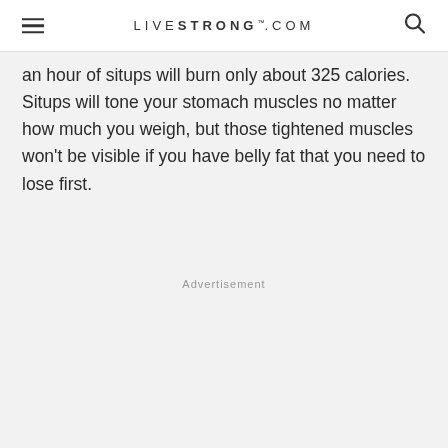LIVESTRONG.COM
an hour of situps will burn only about 325 calories. Situps will tone your stomach muscles no matter how much you weigh, but those tightened muscles won't be visible if you have belly fat that you need to lose first.
Advertisement